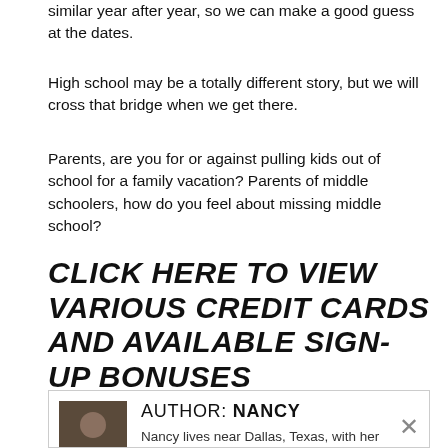similar year after year, so we can make a good guess at the dates.
High school may be a totally different story, but we will cross that bridge when we get there.
Parents, are you for or against pulling kids out of school for a family vacation? Parents of middle schoolers, how do you feel about missing middle school?
CLICK HERE TO VIEW VARIOUS CREDIT CARDS AND AVAILABLE SIGN-UP BONUSES
AUTHOR: NANCY
Nancy lives near Dallas, Texas, with her husband and three kids. Her favorite vacations include the beach, cruising and everything Disney.